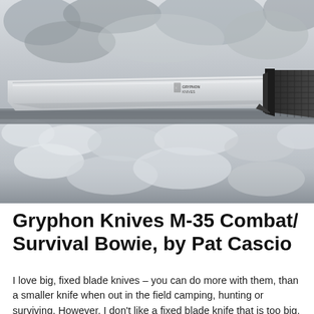[Figure (photo): A large fixed-blade knife (Gryphon Knives M-35) with a silver/grey blade and black textured handle, laid on rocky snowy ground. The blade shows the Gryphon Knives logo.]
Gryphon Knives M-35 Combat/Survival Bowie, by Pat Cascio
I love big, fixed blade knives – you can do more with them, than a smaller knife when out in the field camping, hunting or surviving. However, I don't like a fixed blade knife that is too big, either – they